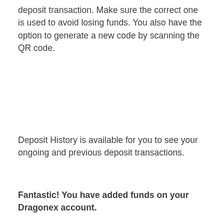deposit transaction. Make sure the correct one is used to avoid losing funds. You also have the option to generate a new code by scanning the QR code.
Deposit History is available for you to see your ongoing and previous deposit transactions.
Fantastic! You have added funds on your Dragonex account.